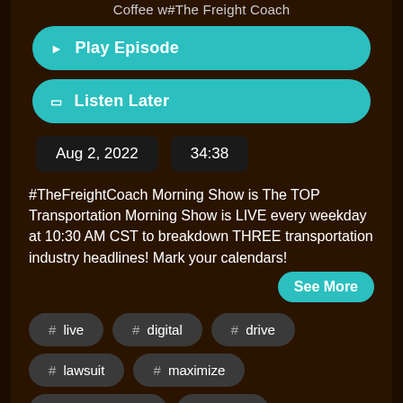Coffee w#The Freight Coach
Play Episode
Listen Later
Aug 2, 2022   34:38
#TheFreightCoach Morning Show is The TOP Transportation Morning Show is LIVE every weekday at 10:30 AM CST to breakdown THREE transportation industry headlines! Mark your calendars!
See More
# live
# digital
# drive
# lawsuit
# maximize
# morning show
# broker